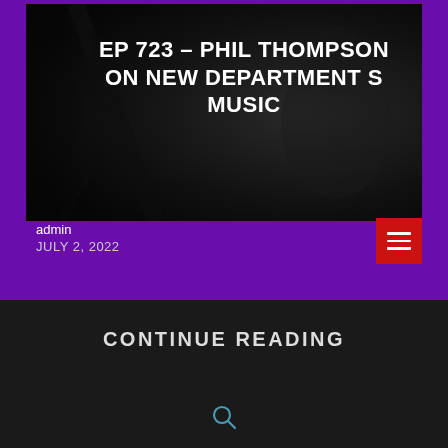[Figure (photo): Dark background photo of a person playing guitar, used as hero image for podcast episode card]
EP 723 – PHIL THOMPSON ON NEW DEPARTMENT S MUSIC
admin
JULY 2, 2022
CONTINUE READING